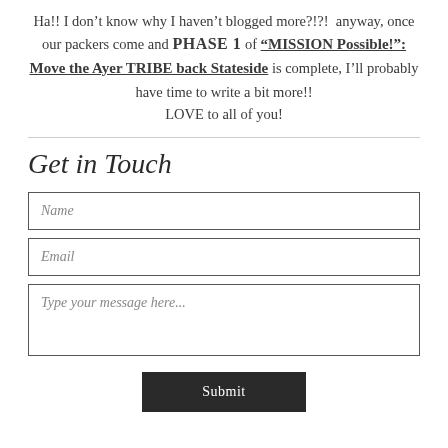Ha!! I don't know why I haven't blogged more?!?!  anyway, once our packers come and PHASE 1 of "MISSION Possible!": Move the Ayer TRIBE back Stateside is complete, I'll probably have time to write a bit more!!  LOVE to all of you!
Get in Touch
Name
Email
Type your message here...
Submit